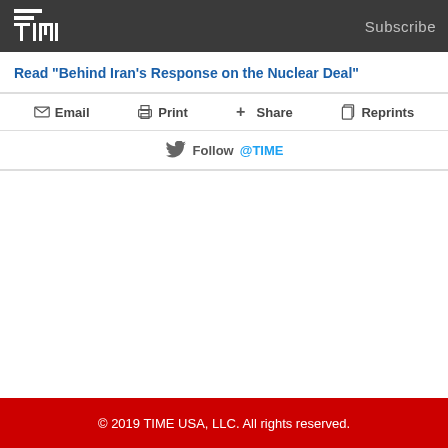TIME — Subscribe
Read "Behind Iran's Response on the Nuclear Deal"
✉ Email   🖨 Print   + Share   📋 Reprints
Follow @TIME
© 2019 TIME USA, LLC. All rights reserved.